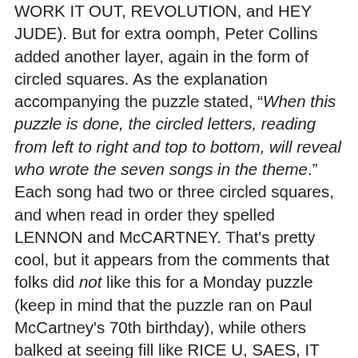WORK IT OUT, REVOLUTION, and HEY JUDE). But for extra oomph, Peter Collins added another layer, again in the form of circled squares. As the explanation accompanying the puzzle stated, “When this puzzle is done, the circled letters, reading from left to right and top to bottom, will reveal who wrote the seven songs in the theme.” Each song had two or three circled squares, and when read in order they spelled LENNON and McCARTNEY. That's pretty cool, but it appears from the comments that folks did not like this for a Monday puzzle (keep in mind that the puzzle ran on Paul McCartney's 70th birthday), while others balked at seeing fill like RICE U, SAES, IT NO, ANI, ESO, DEO, UAL, SAINTE, ENTO, ITE, OSO, and OENO in their Monday puzzle. Check out the star ratings for the puzzle: 9 five-star ratings, 6 four-star ratings, 8 three-star ratings